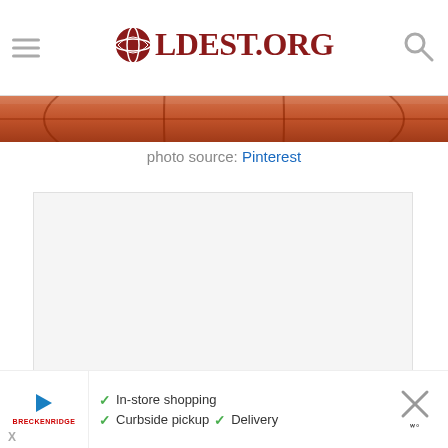OLDEST.ORG
[Figure (photo): Basketball court photo strip showing orange and red tones]
photo source: Pinterest
[Figure (other): Gray/white content placeholder box]
[Figure (other): Advertisement banner: In-store shopping, Curbside pickup, Delivery with navigation icon]